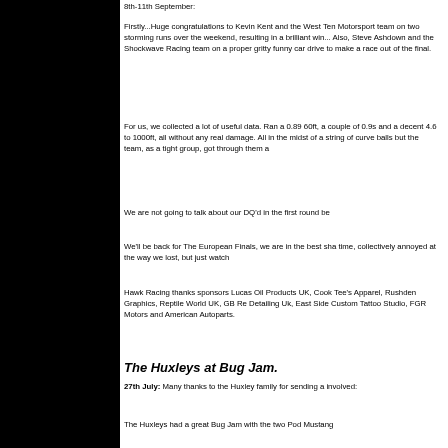8th-11th September:
Firstly...Huge congratulations to Kevin Kent and the West Ten Motorsport team on two storming runs over the weekend, resulting in a brilliant win... Also, Steve Ashdown and the Shockwave Racing team on a proper gritty funny car drive to make a race out of the final.
For us, we collected a lot of useful data. Ran a 0.89 60ft, a couple of 0.9s and a decent 4.6 to 1000ft, all without any real damage. All in the midst of a string of curve balls but the team, as a tight group, got through them a
We are not going to talk about our DQ'd in the first round be
We'll be back for The European Finals, we are in the best sha time, collectively annoyed at the way we lost, but just watch
Hawk Racing thanks sponsors Lucas Oil Products UK, Cook Tee's Apparel, Rushden Graphics, Reptile World UK, GB Re Detailing Uk, East Side Custom Tattoo Studio, FGR Motors and American Autoparts.
The Huxleys at Bug Jam.
27th July: Many thanks to the Huxley family for sending a involved:
The Huxleys had a great Bug Jam with the two Pod Mustang